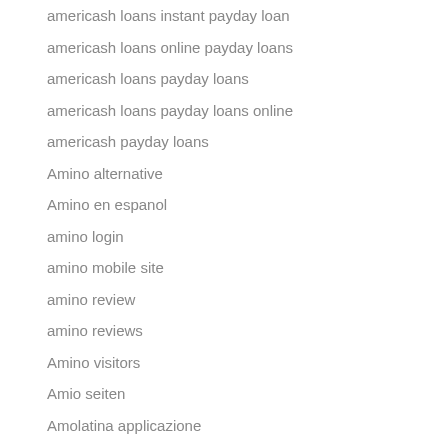americash loans instant payday loan
americash loans online payday loans
americash loans payday loans
americash loans payday loans online
americash payday loans
Amino alternative
Amino en espanol
amino login
amino mobile site
amino review
amino reviews
Amino visitors
Amio seiten
Amolatina applicazione
amolatina come funziona